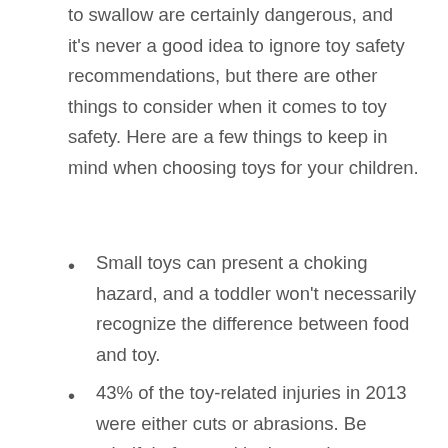to swallow are certainly dangerous, and it's never a good idea to ignore toy safety recommendations, but there are other things to consider when it comes to toy safety. Here are a few things to keep in mind when choosing toys for your children.
Small toys can present a choking hazard, and a toddler won't necessarily recognize the difference between food and toy.
43% of the toy-related injuries in 2013 were either cuts or abrasions. Be mindful of toys with sharp edges or